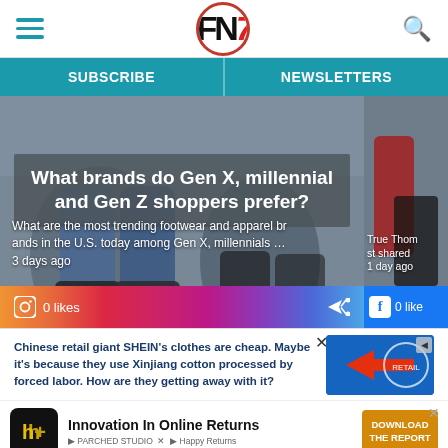FN7 — Footwear News logo, hamburger menu, search icon
SUBSCRIBE | NEWSLETTERS
[Figure (photo): Main article card with photo of person's legs/footwear in shopping area, overlaid with dark semi-transparent text box. Title: 'What brands do Gen X, millennial and Gen Z shoppers prefer?' with Instagram like count 0 and share button. Gradient footer bar.]
What are the most trending footwear and apparel brands in the U.S. today among Gen X, millennials …
3 days ago
0 likes
[Figure (photo): Side card partial view: luggage/boots photo with text 'True Thompson shared', '1 day ago', Facebook 0 likes footer]
True Thompson shared
1 day ago
0 likes
Chinese retail giant SHEIN's clothes are cheap. Maybe it's because they use Xinjiang cotton processed by forced labor. How are they getting away with it?
Innovation In Online Returns DOWNLOAD THE REPORT